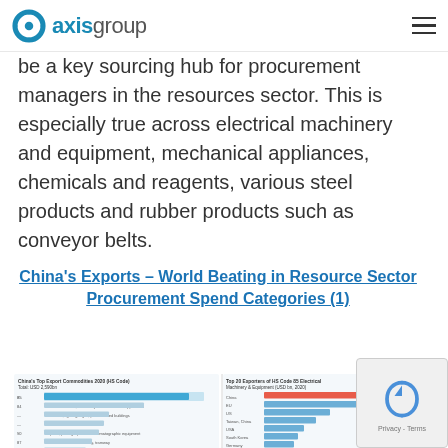axis group
be a key sourcing hub for procurement managers in the resources sector. This is especially true across electrical machinery and equipment, mechanical appliances, chemicals and reagents, various steel products and rubber products such as conveyor belts.
China's Exports – World Beating in Resource Sector Procurement Spend Categories (1)
[Figure (infographic): Two-panel infographic. Left panel: China's Top Export Commodities 2020 (HS Code) Total: USD 2,590bn – horizontal bar chart showing top commodity categories including Electrical machinery & equipment (85), Nuclear reactors machinery and mechanical appliances (84), Furniture lighting signs professional buildings, Plastics, Optical photographic cinematographic equipment (90), Vehicles other than railway tramway (87), Textiles, Toys games and sports requisites, Iron or Steel Products (73), and more. Right panel: Top 20 Exporters of HS Code 85 Electrical Machinery & Equipment (USD bn, 2020) – horizontal bar chart with China at top followed by EU, US, Taiwan China, and others.]